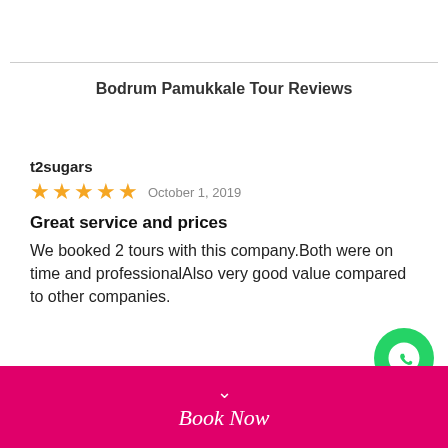Bodrum Pamukkale Tour Reviews
t2sugars
★★★★★  October 1, 2019
Great service and prices
We booked 2 tours with this company.Both were on time and professionalAlso very good value compared to other companies.
Book Now